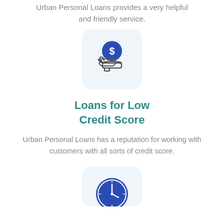Urban Personal Loans provides a very helpful and friendly service.
[Figure (illustration): Icon of a hand receiving a coin with a dollar sign, on a light blue rounded card background]
Loans for Low Credit Score
Urban Personal Loans has a reputation for working with customers with all sorts of credit score.
[Figure (illustration): Icon of a clock on a light blue rounded card background, partially visible at bottom]